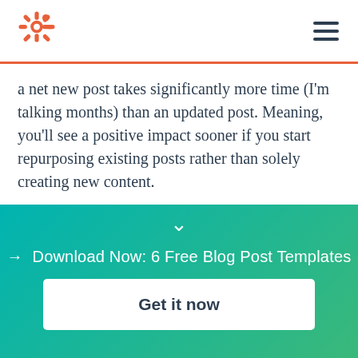HubSpot logo and navigation
a net new post takes significantly more time (I'm talking months) than an updated post. Meaning, you'll see a positive impact sooner if you start repurposing existing posts rather than solely creating new content.
Audit your existing blog posts to determine what you can repurpose and update. Outdated content to remove and/ or replace might include statistics,
→ Download Now: 6 Free Blog Post Templates
Get it now